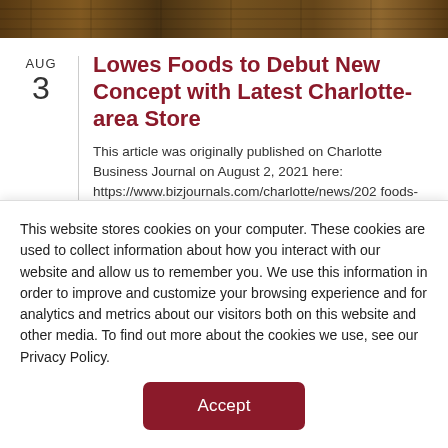[Figure (photo): Photo banner showing a building exterior, appears to be a store or shopping center with architectural detail.]
Lowes Foods to Debut New Concept with Latest Charlotte-area Store
This article was originally published on Charlotte Business Journal on August 2, 2021 here: https://www.bizjournals.com/charlotte/news/202 foods-adding-charlotte-area.html   Lowes Foods has set its sights on Huntersville. The Winston-Salem-based grocer says it will open a roughly 27,000-square-foot concept store at 14001 Boon Ch
This website stores cookies on your computer. These cookies are used to collect information about how you interact with our website and allow us to remember you. We use this information in order to improve and customize your browsing experience and for analytics and metrics about our visitors both on this website and other media. To find out more about the cookies we use, see our Privacy Policy.